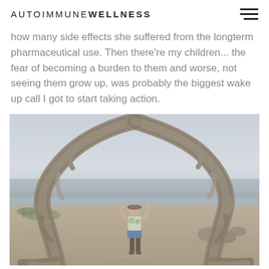AUTOIMMUNE WELLNESS
how many side effects she suffered from the longterm pharmaceutical use. Then there're my children... the fear of becoming a burden to them and worse, not seeing them grow up, was probably the biggest wake up call I got to start taking action.
[Figure (photo): A woman standing inside a large heart-shaped driftwood sculpture on a sandy beach with misty water and hazy sky in the background.]